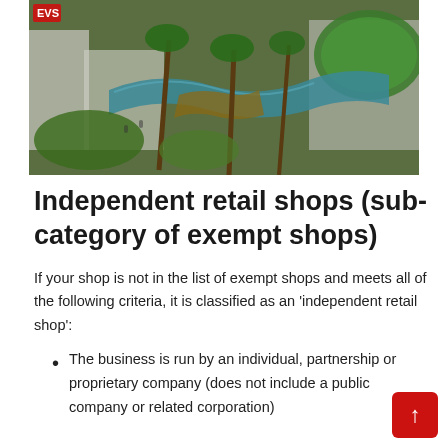[Figure (photo): Aerial/elevated view of an open-air shopping centre with palm trees, winding water feature/pool, wooden walkways, lush greenery, and multi-level retail buildings]
Independent retail shops (sub-category of exempt shops)
If your shop is not in the list of exempt shops and meets all of the following criteria, it is classified as an 'independent retail shop':
The business is run by an individual, partnership or proprietary company (does not include a public company or related corporation)